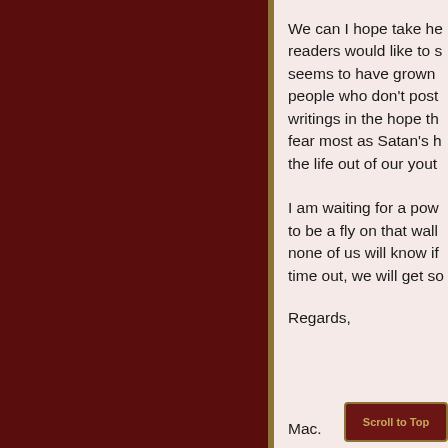We can I hope take he readers would like to s seems to have grown people who don't post writings in the hope th fear most as Satan's h the life out of our yout
I am waiting for a pow to be a fly on that wall none of us will know if time out, we will get so
Regards,
Mac.